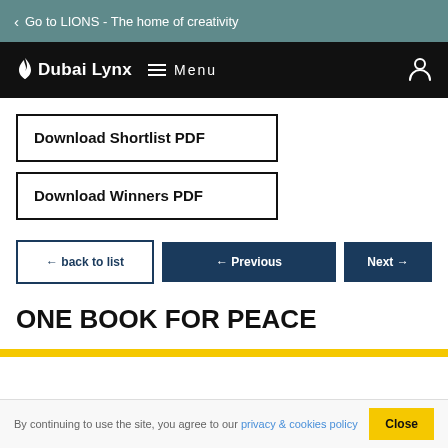< Go to LIONS - The home of creativity
Dubai Lynx  Menu
Download Shortlist PDF
Download Winners PDF
← back to list
← Previous
Next →
ONE BOOK FOR PEACE
By continuing to use the site, you agree to our privacy & cookies policy